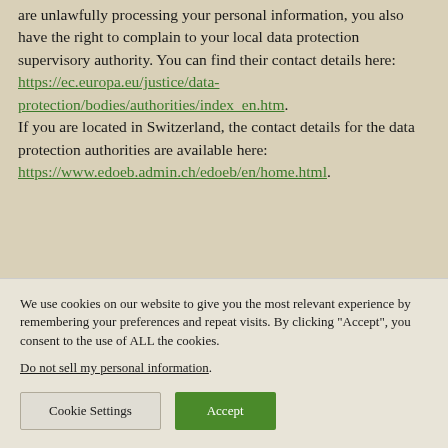are unlawfully processing your personal information, you also have the right to complain to your local data protection supervisory authority. You can find their contact details here: https://ec.europa.eu/justice/data-protection/bodies/authorities/index_en.htm. If you are located in Switzerland, the contact details for the data protection authorities are available here: https://www.edoeb.admin.ch/edoeb/en/home.html.
We use cookies on our website to give you the most relevant experience by remembering your preferences and repeat visits. By clicking "Accept", you consent to the use of ALL the cookies.
Do not sell my personal information.